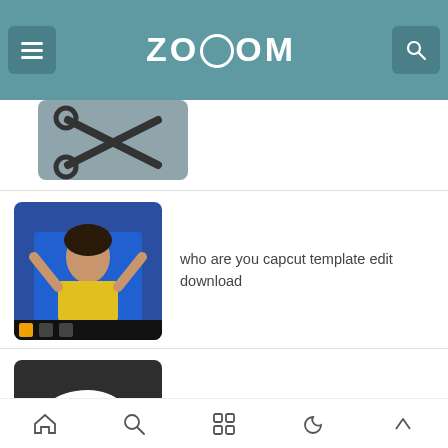ZOOOM
[Figure (screenshot): Partial view of a scissors/cut tool app icon or image, partially cropped at top]
who are you capcut template edit download
wrap me in plastic capcut edit download
Download mangaowl apk for Android, the latest version, for free
Home Search Apps Dark Mode Scroll-to-top navigation icons